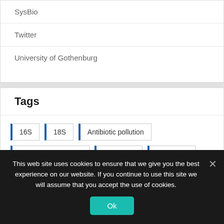SysBio
Twitter
University of Gothenburg
Tags
16S
18S
Antibiotic pollution
Antibiotic resistance
Antibiotics
Barcoding
This web site uses cookies to ensure that we give you the best experience on our website. If you continue to use this site we will assume that you accept the use of cookies.